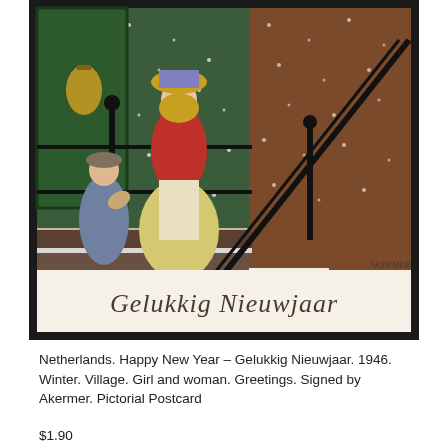[Figure (photo): A vintage Dutch New Year postcard from 1946 showing a woman in a red dress and yellow hat standing on snowy steps, with a child in a blue coat beside her. Snow is falling. At the bottom of the postcard, cursive text reads 'Gelukkig Nieuwjaar'. The postcard is signed by Akermer.]
Netherlands. Happy New Year – Gelukkig Nieuwjaar. 1946. Winter. Village. Girl and woman. Greetings. Signed by Akermer. Pictorial Postcard
$1.90